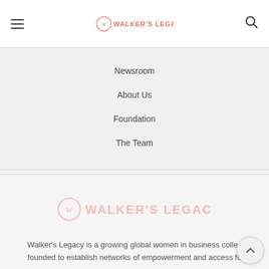Walker's Legacy
Newsroom
About Us
Foundation
The Team
[Figure (logo): Walker's Legacy logo in light pink/salmon color, large watermark style]
Walker's Legacy is a growing global women in business collec founded to establish networks of empowerment and access fo